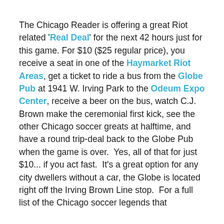The Chicago Reader is offering a great Riot related 'Real Deal' for the next 42 hours just for this game. For $10 ($25 regular price), you receive a seat in one of the Haymarket Riot Areas, get a ticket to ride a bus from the Globe Pub at 1941 W. Irving Park to the Odeum Expo Center, receive a beer on the bus, watch C.J. Brown make the ceremonial first kick, see the other Chicago soccer greats at halftime, and have a round trip-deal back to the Globe Pub when the game is over. Yes, all of that for just $10... if you act fast. It's a great option for any city dwellers without a car, the Globe is located right off the Irving Brown Line stop. For a full list of the Chicago soccer legends that